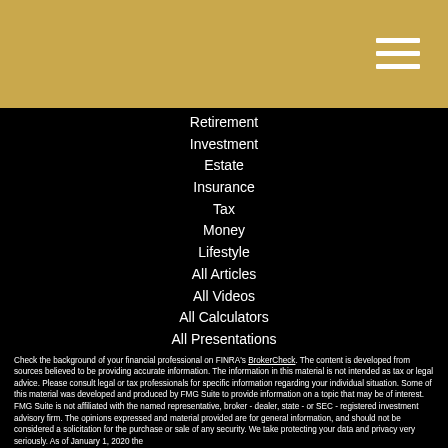Retirement
Investment
Estate
Insurance
Tax
Money
Lifestyle
All Articles
All Videos
All Calculators
All Presentations
Check the background of your financial professional on FINRA's BrokerCheck. The content is developed from sources believed to be providing accurate information. The information in this material is not intended as tax or legal advice. Please consult legal or tax professionals for specific information regarding your individual situation. Some of this material was developed and produced by FMG Suite to provide information on a topic that may be of interest. FMG Suite is not affiliated with the named representative, broker - dealer, state - or SEC - registered investment advisory firm. The opinions expressed and material provided are for general information, and should not be considered a solicitation for the purchase or sale of any security. We take protecting your data and privacy very seriously. As of January 1, 2020 the